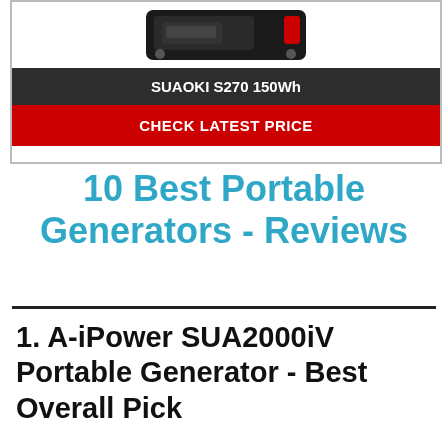[Figure (photo): SUAOKI S270 150Wh portable power station product image, dark colored device with red accent]
SUAOKI S270 150Wh
CHECK LATEST PRICE
10 Best Portable Generators - Reviews
1. A-iPower SUA2000iV Portable Generator - Best Overall Pick